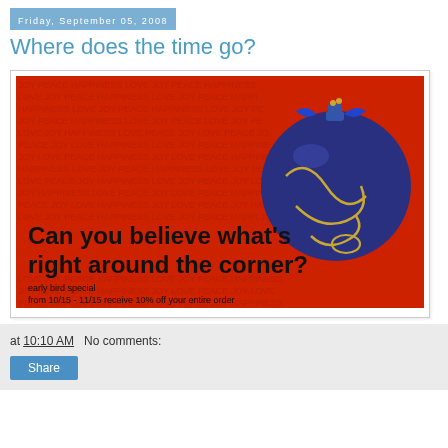Friday, September 05, 2008
Where does the time go?
[Figure (illustration): Red background holiday advertisement image with repeating text pattern (JOY, PEACE, HAPPINESS, LOVE) and a blue ornament with gold designs. Text reads: 'Can you believe what's right around the corner?' and 'early bird special from 10/15 - 11/15 receive 10% off your entire order']
at 10:10 AM   No comments:
Share